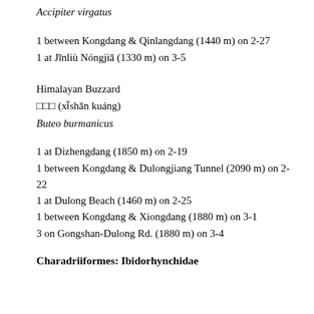Accipiter virgatus
1 between Kongdang & Qinlangdang (1440 m) on 2-27
1 at Jīnliù Nóngjiā (1330 m) on 3-5
Himalayan Buzzard
□□□ (xǐshān kuáng)
Buteo burmanicus
1 at Dizhengdang (1850 m) on 2-19
1 between Kongdang & Dulongjiang Tunnel (2090 m) on 2-22
1 at Dulong Beach (1460 m) on 2-25
1 between Kongdang & Xiongdang (1880 m) on 3-1
3 on Gongshan-Dulong Rd. (1880 m) on 3-4
Charadriiformes: Ibidorhynchidae